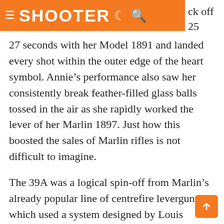≡ SHOOTER 🌙 🔍 ck off 25 shots in
27 seconds with her Model 1891 and landed every shot within the outer edge of the heart symbol. Annie's performance also saw her consistently break feather-filled glass balls tossed in the air as she rapidly worked the lever of her Marlin 1897. Just how this boosted the sales of Marlin rifles is not difficult to imagine.
The 39A was a logical spin-off from Marlin's already popular line of centrefire leverguns, which used a system designed by Louis Lobdell Hepburn, a crack marksman and genius firearms designer of that era.  Hepburn was responsible for the models 18... 1888 and the first of the solid-top ejector models,